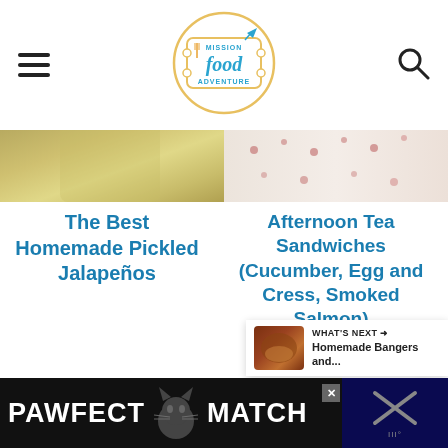Mission Food Adventure
[Figure (photo): Left: yellow-green pickled jalapeños in a jar. Right: floral china plate for afternoon tea.]
The Best Homemade Pickled Jalapeños
Afternoon Tea Sandwiches (Cucumber, Egg and Cress, Smoked Salmon)
WHAT'S NEXT → Homemade Bangers and...
[Figure (photo): Ad banner: PAWFECT MATCH with cat silhouette on dark background]